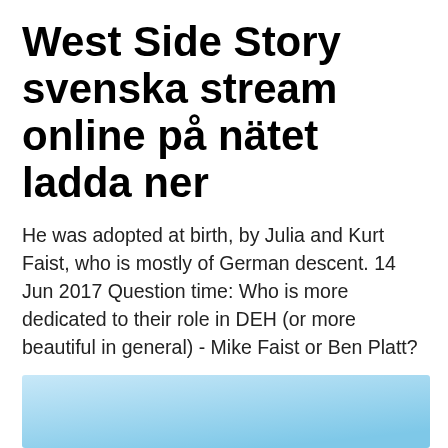West Side Story svenska stream online på nätet ladda ner
He was adopted at birth, by Julia and Kurt Faist, who is mostly of German descent. 14 Jun 2017 Question time: Who is more dedicated to their role in DEH (or more beautiful in general) - Mike Faist or Ben Platt?
[Figure (illustration): Light blue gradient rectangle, lighter at top-left fading to slightly deeper blue at bottom-right.]